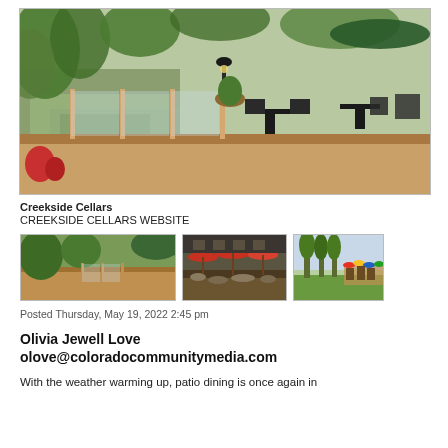[Figure (photo): Outdoor patio dining area next to a creek, with tables, chairs, and umbrellas surrounded by trees and greenery. Creekside Cellars restaurant.]
Creekside Cellars
CREEKSIDE CELLARS WEBSITE
[Figure (photo): Three thumbnail photos of Creekside Cellars: patio deck by creek, outdoor dining with red umbrellas, and outdoor seating area with colorful umbrellas.]
Posted Thursday, May 19, 2022 2:45 pm
Olivia Jewell Love
olove@coloradocommunitymedia.com
With the weather warming up, patio dining is once again in